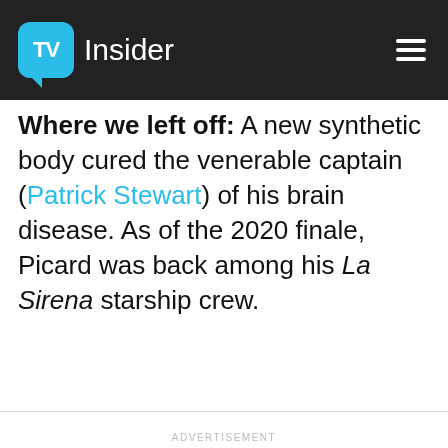TV Insider
Where we left off: A new synthetic body cured the venerable captain (Patrick Stewart) of his brain disease. As of the 2020 finale, Picard was back among his La Sirena starship crew.
ADVERTISEMENT